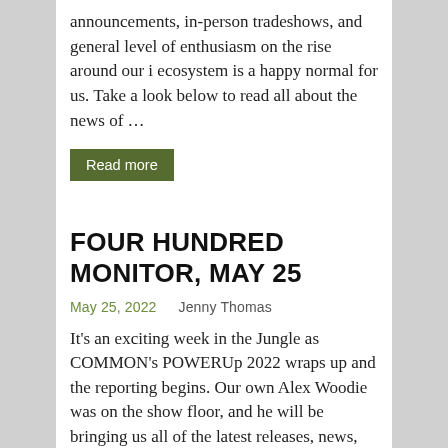announcements, in-person tradeshows, and general level of enthusiasm on the rise around our i ecosystem is a happy normal for us. Take a look below to read all about the news of …
Read more
FOUR HUNDRED MONITOR, MAY 25
May 25, 2022    Jenny Thomas
It's an exciting week in the Jungle as COMMON's POWERUp 2022 wraps up and the reporting begins. Our own Alex Woodie was on the show floor, and he will be bringing us all of the latest releases, news, and announcements in the coming weeks. So we have to kick off this week's Monitor by re-directing you back to